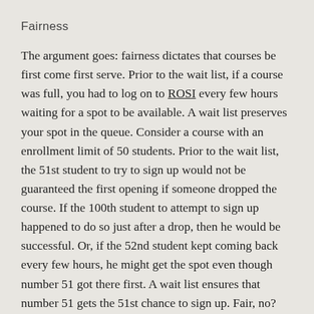Fairness
The argument goes: fairness dictates that courses be first come first serve. Prior to the wait list, if a course was full, you had to log on to ROSI every few hours waiting for a spot to be available. A wait list preserves your spot in the queue. Consider a course with an enrollment limit of 50 students. Prior to the wait list, the 51st student to try to sign up would not be guaranteed the first opening if someone dropped the course. If the 100th student to attempt to sign up happened to do so just after a drop, then he would be successful. Or, if the 52nd student kept coming back every few hours, he might get the spot even though number 51 got there first. A wait list ensures that number 51 gets the 51st chance to sign up. Fair, no?